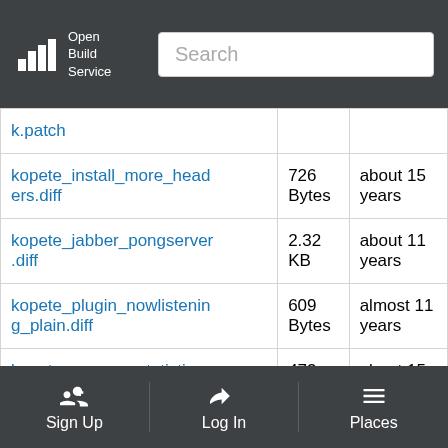Open Build Service
| Filename | Size | Age |
| --- | --- | --- |
| k.patch |  |  |
| kopete_install_more_headers.diff | 726 Bytes | about 15 years |
| kopete_jabber_pongserver.diff | 2.32 KB | about 11 years |
| kopete_plugin_nowlistening_plain.diff | 609 Bytes | almost 11 years |
| kopete_remove_statistics.diff | 473 Bytes | about 15 years |
| kopete_stop_doubled_irc_status_changes.diff | 1 KB | about 15 years |
Sign Up | Log In | Places